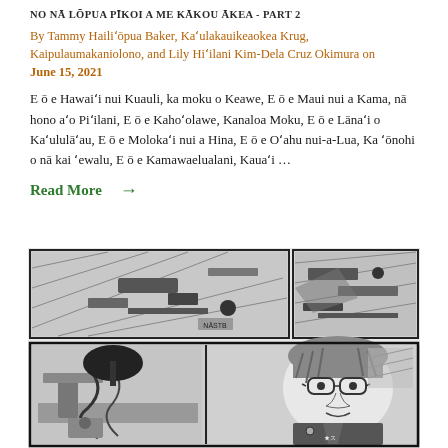NO NĀ LŌPUA PĪKOI A ME KĀKOU ĀKEA - PART 2
By Tammy Hailiʻōpua Baker, Kaʻulakauikeaokea Krug, Kaipulaumakaniolono, and Lily Hiʻilani Kim-Dela Cruz Okimura on June 15, 2021
E ō e Hawaiʻi nui Kuauli, ka moku o Keawe, E ō e Maui nui a Kama, nā hono aʻo Piʻilani, E ō e Kahoʻolawe, Kanaloa Moku, E ō e Lānaʻi o Kaʻululāʻau, E ō e Molokaʻi nui a Hina, E ō e Oʻahu nui-a-Lua, Ka ʻōnohi o nā kai ʻewalu, E ō e Kamawaelualani, Kauaʻi …
Read More →
[Figure (illustration): Manga-style comic panels showing aerial and interior scenes with a person wearing glasses, drawn in black and white with detailed linework]